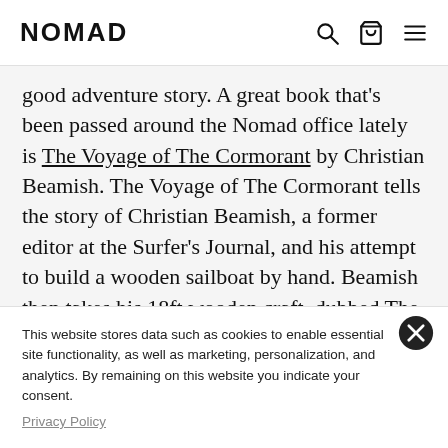NOMAD
good adventure story. A great book that's been passed around the Nomad office lately is The Voyage of The Cormorant by Christian Beamish. The Voyage of The Cormorant tells the story of Christian Beamish, a former editor at the Surfer's Journal, and his attempt to build a wooden sailboat by hand. Beamish then takes his 18ft wooden craft, dubbed The Cormorant, on an epic voyage from San Diego, California to the tip of Baja Sur in Mexico. Beamish's journey is full of twists and turns and is an inspiring read for
This website stores data such as cookies to enable essential site functionality, as well as marketing, personalization, and analytics. By remaining on this website you indicate your consent.
Privacy Policy